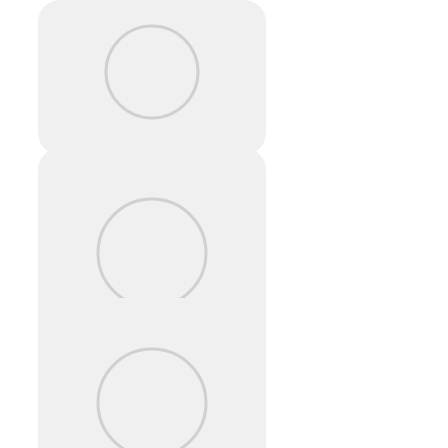[Figure (illustration): App icon placeholder for Rapchat: Song Maker Studio — rounded square with light gray background and circle outline inside]
Rapchat: Song Maker Studio
[Figure (illustration): App icon placeholder for GarageBand — rounded square with light gray background and circle outline inside]
GarageBand
[Figure (illustration): App icon placeholder for GuitarTuna: Guitar, Bass tuner — rounded square with light gray background and circle outline inside]
GuitarTuna: Guitar, Bass tuner